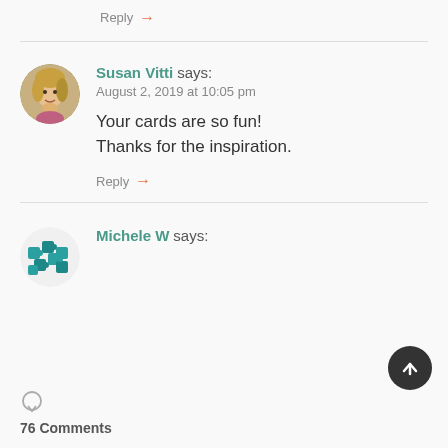Reply →
Susan Vitti says:
August 2, 2019 at 10:05 pm
Your cards are so fun!
Thanks for the inspiration.
Reply →
Michele W says:
76 Comments